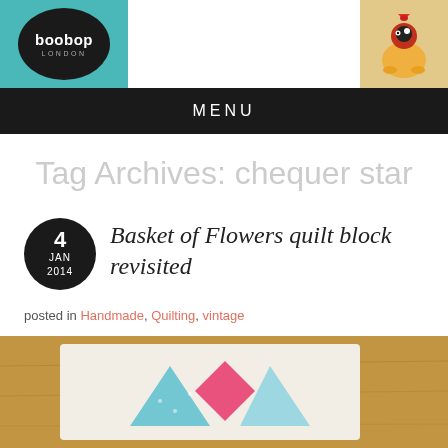[Figure (logo): boobop London logo on teal background with circular black badge]
[Figure (photo): Decorative rooster figurine photo in top right corner]
MENU
Tag Archives: chequer star
4 JAN 2014
Basket of Flowers quilt block revisited
posted in Handmade, Quilting, vintage
[Figure (photo): Quilt block on wooden table showing pink and blue star/basket pattern on white fabric]